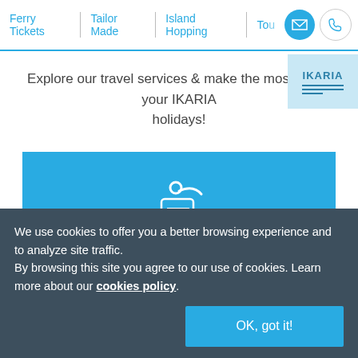Ferry Tickets | Tailor Made | Island Hopping | To...
Explore our travel services & make the most out of your IKARIA holidays!
[Figure (illustration): Blue card with hotel door hanger icon and the word 'Hotels' in cursive/italic white text]
We use cookies to offer you a better browsing experience and to analyze site traffic.
By browsing this site you agree to our use of cookies. Learn more about our cookies policy